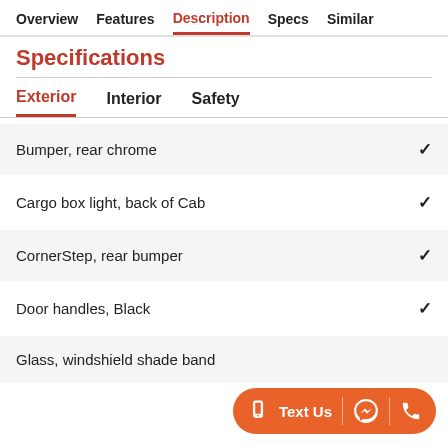Overview  Features  Description  Specs  Similar
Specifications
Exterior  Interior  Safety
Bumper, rear chrome ✓
Cargo box light, back of Cab ✓
CornerStep, rear bumper ✓
Door handles, Black ✓
Glass, windshield shade band